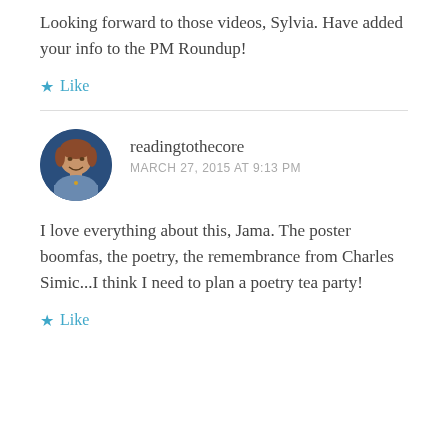Looking forward to those videos, Sylvia. Have added your info to the PM Roundup!
★ Like
readingtothecore
MARCH 27, 2015 AT 9:13 PM
I love everything about this, Jama. The poster boomfas, the poetry, the remembrance from Charles Simic...I think I need to plan a poetry tea party!
★ Like